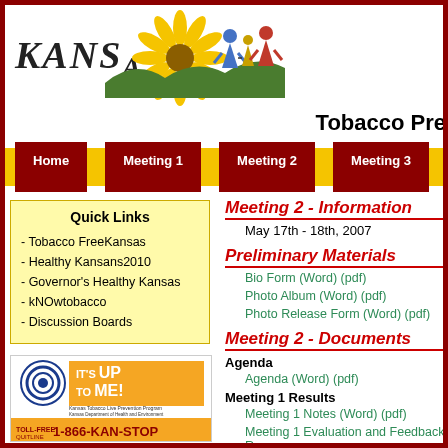[Figure (logo): Kansas state logo with sunflower and people silhouettes]
Tobacco Pre
[Figure (screenshot): Navigation bar with Home, Meeting 1, Meeting 2, Meeting 3 buttons on yellow background]
Quick Links
- Tobacco FreeKansas
- Healthy Kansans2010
- Governor's Healthy Kansas
- kNOwtobacco
- Discussion Boards
[Figure (photo): It's Up To Me 1-866-KAN-STOP toll-free quitline banner ad]
Meeting 2 - Information
May 17th - 18th, 2007
Preliminary Materials
Bio Form (Word) (pdf)
Photo Album (Word) (pdf)
Photo Release Form (Word) (pdf)
Meeting 2 - Documents
Agenda
Agenda (Word) (pdf)
Meeting 1 Results
Meeting 1 Notes (Word) (pdf)
Meeting 1 Evaluation and Feedback R
Meeting 2 Materials